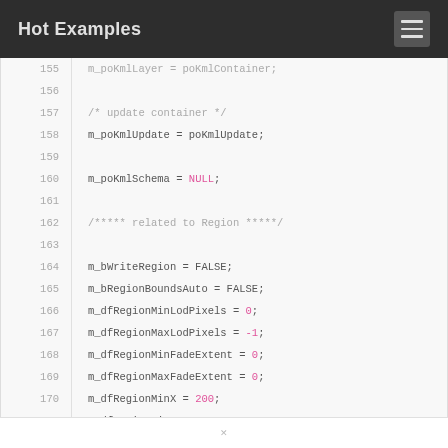Hot Examples
Code listing lines 155-171:
155: m_poKmlLayer = poKmlContainer;
156: 
157:     /* update container */
158:     m_poKmlUpdate = poKmlUpdate;
159: 
160:     m_poKmlSchema = NULL;
161: 
162:     /***** related to Region *****/
163: 
164:     m_bWriteRegion = FALSE;
165:     m_bRegionBoundsAuto = FALSE;
166:     m_dfRegionMinLodPixels = 0;
167:     m_dfRegionMaxLodPixels = -1;
168:     m_dfRegionMinFadeExtent = 0;
169:     m_dfRegionMaxFadeExtent = 0;
170:     m_dfRegionMinX = 200;
171:     m_dfRegionMinY = 200;